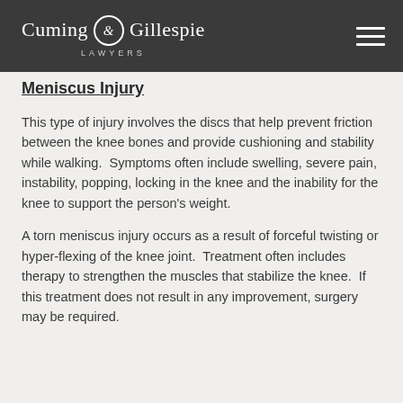Cuming & Gillespie LAWYERS
Meniscus Injury
This type of injury involves the discs that help prevent friction between the knee bones and provide cushioning and stability while walking.  Symptoms often include swelling, severe pain, instability, popping, locking in the knee and the inability for the knee to support the person's weight.
A torn meniscus injury occurs as a result of forceful twisting or hyper-flexing of the knee joint.  Treatment often includes therapy to strengthen the muscles that stabilize the knee.  If this treatment does not result in any improvement, surgery may be required.